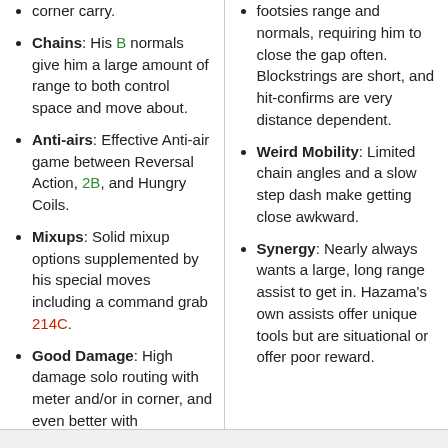corner carry.
Chains: His B normals give him a large amount of range to both control space and move about.
Anti-airs: Effective Anti-air game between Reversal Action, 2B, and Hungry Coils.
Mixups: Solid mixup options supplemented by his special moves including a command grab 214C.
Good Damage: High damage solo routing with meter and/or in corner, and even better with Resonance.
footsies range and normals, requiring him to close the gap often. Blockstrings are short, and hit-confirms are very distance dependent.
Weird Mobility: Limited chain angles and a slow step dash make getting close awkward.
Synergy: Nearly always wants a large, long range assist to get in. Hazama's own assists offer unique tools but are situational or offer poor reward.